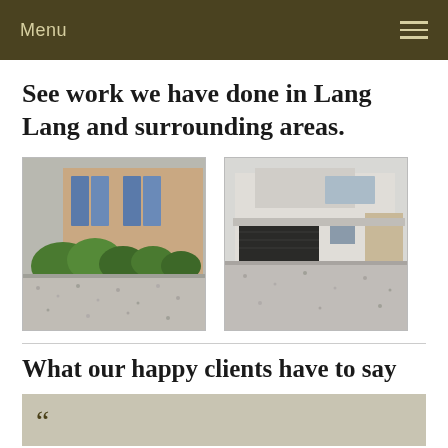Menu
See work we have done in Lang Lang and surrounding areas.
[Figure (photo): Exterior photo of a house with brick facade, blue shutters, and green hedge, with a gravel or exposed aggregate driveway in the foreground.]
[Figure (photo): Exterior photo of a modern white rendered house with a wide dark garage door and exposed aggregate concrete driveway.]
What our happy clients have to say
““